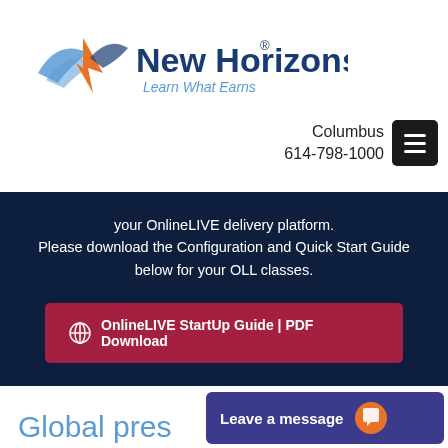[Figure (logo): New Horizons logo with wing/flame icon and text 'New Horizons® Learn What Earns']
Columbus
614-798-1000
your OnlineLIVE delivery platform.
Please download the Configuration and Quick Start Guide below for your OLL classes.
🌐 OnlineLIVE StartUp Guide | PDF Download
Global pres
Leave a message